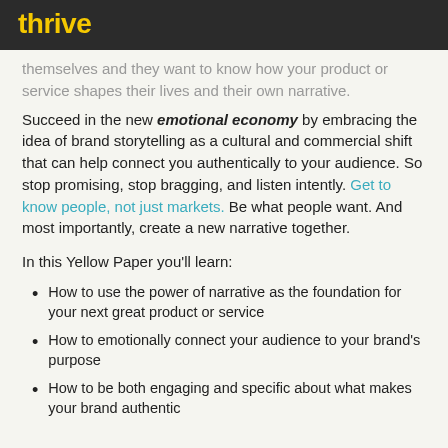thrive
themselves and they want to know how your product or service shapes their lives and their own narrative.
Succeed in the new emotional economy by embracing the idea of brand storytelling as a cultural and commercial shift that can help connect you authentically to your audience. So stop promising, stop bragging, and listen intently. Get to know people, not just markets. Be what people want. And most importantly, create a new narrative together.
In this Yellow Paper you'll learn:
How to use the power of narrative as the foundation for your next great product or service
How to emotionally connect your audience to your brand's purpose
How to be both engaging and specific about what makes your brand authentic